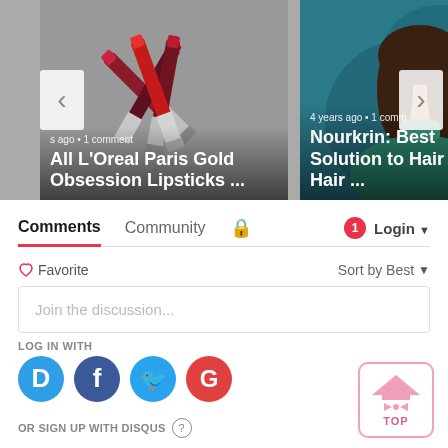[Figure (screenshot): Carousel card showing lipsticks with text overlay: 's ago • 1 comment' and 'All L'Oreal Paris Gold Obsession Lipsticks ...']
[Figure (screenshot): Carousel card showing woman with text overlay: '4 years ago • 1 comm' and 'Nourkrin: Best Solution to Hair Fall & Hair ...']
Comments  Community  🔒  1  Login
♡ Favorite   Sort by Best
Join the discussion...
LOG IN WITH
OR SIGN UP WITH DISQUS
[Figure (logo): TOP button with pink bow tie hat logo]